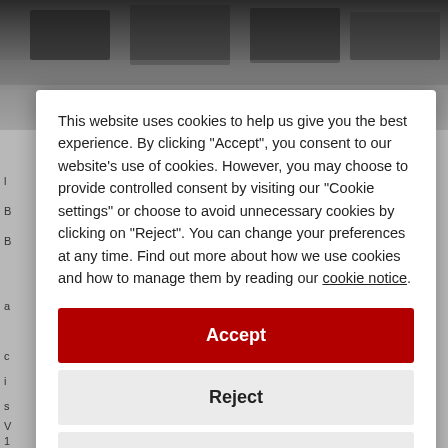[Figure (photo): Black and white photograph of people sitting at desks, partially visible behind cookie consent modal]
This website uses cookies to help us give you the best experience. By clicking "Accept", you consent to our website's use of cookies. However, you may choose to provide controlled consent by visiting our "Cookie settings" or choose to avoid unnecessary cookies by clicking on "Reject". You can change your preferences at any time. Find out more about how we use cookies and how to manage them by reading our cookie notice.
Accept
Reject
Cookie settings